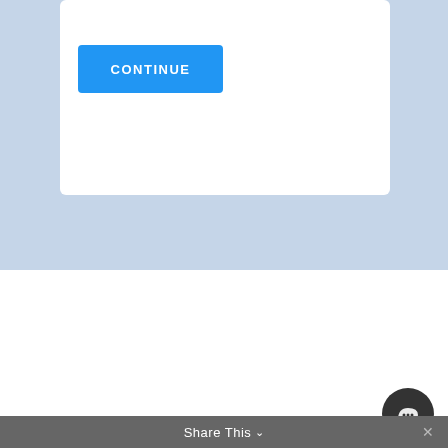[Figure (screenshot): Blue Continue button on white card with light blue background]
[Figure (screenshot): Chat popup with PublicInput logo icon and message 'Hi! Anything I can help you find?']
[Figure (logo): PublicInput logo with circular blue icon and text 'PublicInput']
Share This ∨